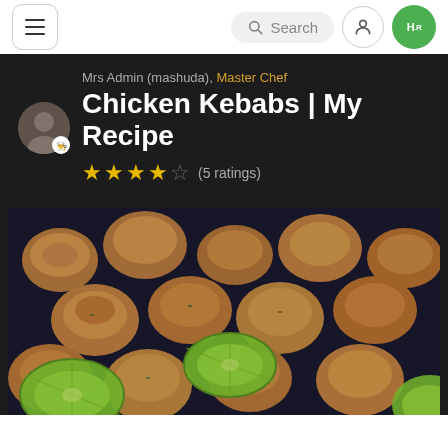Navigation bar with hamburger menu, search box, user icon, and HR logo
Mrs Admin (mashuda), Master Chef
Chicken Kebabs | My Recipe
★★★★☆ (5 ratings)
[Figure (photo): Close-up photo of golden-brown chicken kebab pieces with lime/lemon wedges on a dark plate]